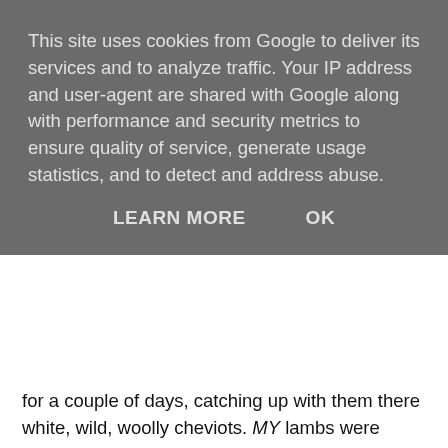This site uses cookies from Google to deliver its services and to analyze traffic. Your IP address and user-agent are shared with Google along with performance and security metrics to ensure quality of service, generate usage statistics, and to detect and address abuse.
LEARN MORE   OK
for a couple of days, catching up with them there white, wild, woolly cheviots. MY lambs were looking well, it was so good to see them again although disappointing to find some were suffering from orf (watch these postings - coming soon!), on the other hand it was a relief to find others which were lame had foot scald and were not suffering from the joint ill type infection which a few lambs had gone down with towards the end of the lambing. The lambs were really thriving and weighed heavy when lifted onto the top rail of the pens to get the bits and bobs done to them, fortunately they don't have horns so injuries to the handlers were minimal. And guess what? Shep's lamb count was up on last year - now is that exciting or not? I was forever hopeful, especially with the number of twins (and triplets) which were born but I was also